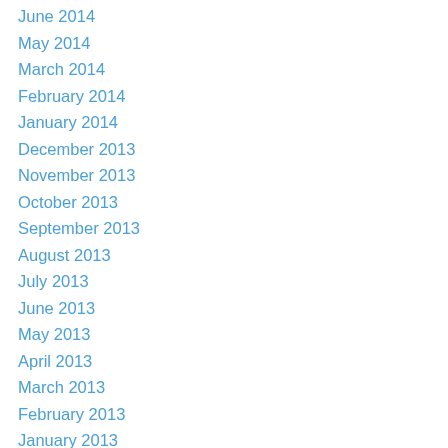June 2014
May 2014
March 2014
February 2014
January 2014
December 2013
November 2013
October 2013
September 2013
August 2013
July 2013
June 2013
May 2013
April 2013
March 2013
February 2013
January 2013
December 2012
November 2012
October 2012